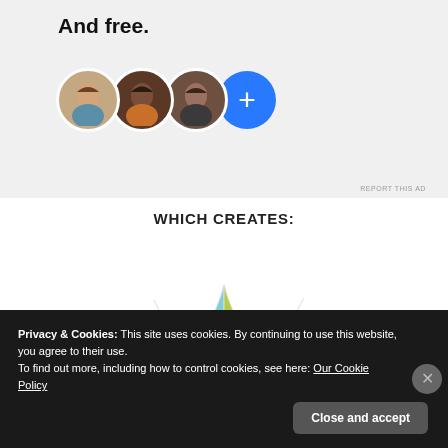[Figure (screenshot): Ad banner with bold text 'And free.' and three circular profile photos plus a blue plus button]
REPORT THIS AD
WHICH CREATES:
[Figure (pie-chart): Partial pie chart showing colored segments with labels aVR (arrow left) and aVL (arrow right). Segments colored light blue, yellow-green, and pink.]
Privacy & Cookies: This site uses cookies. By continuing to use this website, you agree to their use.
To find out more, including how to control cookies, see here: Our Cookie Policy
Close and accept